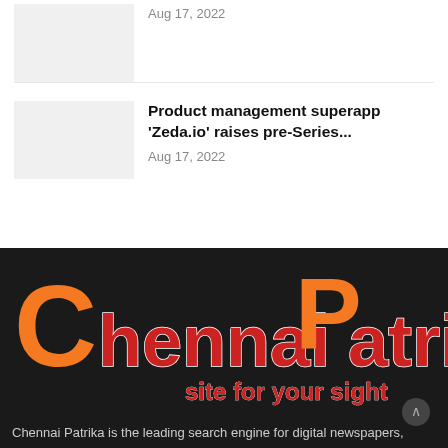Aug 17, 2022
Product management superapp 'Zeda.io' raises pre-Series...
Aug 17, 2022
[Figure (logo): Chennai Patrika logo with large orange C, red text 'ChennaiPatrika', tagline 'site for your sight' in red on dark background]
Chennai Patrika is the leading search engine for digital newspapers,